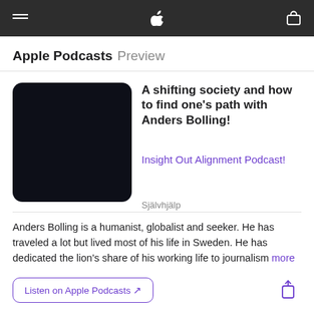Apple Podcasts Preview
A shifting society and how to find one's path with Anders Bolling!
Insight Out Alignment Podcast!
Självhjälp
Anders Bolling is a humanist, globalist and seeker. He has traveled a lot but lived most of his life in Sweden. He has dedicated the lion's share of his working life to journalism  more
Listen on Apple Podcasts ↗